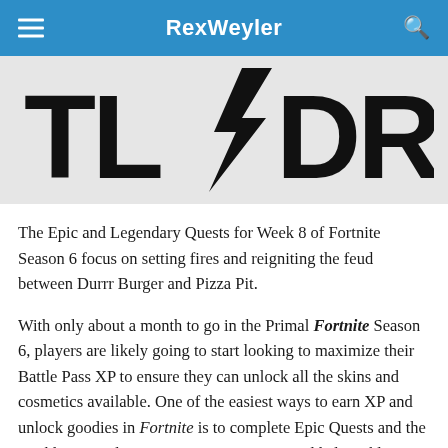RexWeyler
[Figure (illustration): TL;DR logo in large bold black letters with a lightning bolt replacing the semicolon, on a light gray background]
The Epic and Legendary Quests for Week 8 of Fortnite Season 6 focus on setting fires and reigniting the feud between Durrr Burger and Pizza Pit.
With only about a month to go in the Primal Fortnite Season 6, players are likely going to start looking to maximize their Battle Pass XP to ensure they can unlock all the skins and cosmetics available. One of the easiest ways to earn XP and unlock goodies in Fortnite is to complete Epic Quests and the weekly Legendary Quest. Epic Quests are added weekly in Fortnite but can be